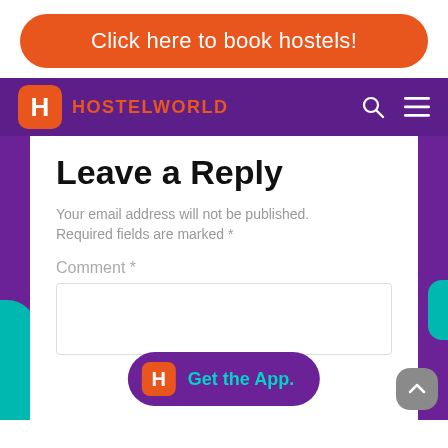Click here to book hostels!
HOSTELWORLD
Leave a Reply
Your email address will not be published. Required fields are marked *
Comment *
[Figure (screenshot): Get the App button with Hostelworld logo]